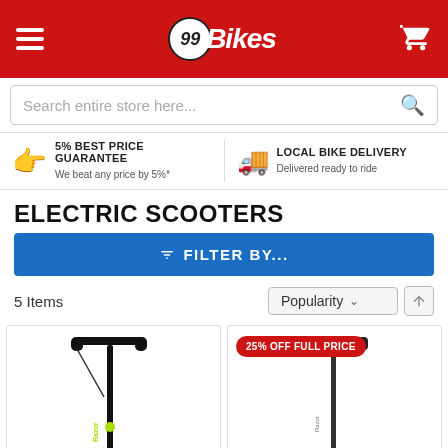99Bikes
Search entire store here...
5% BEST PRICE GUARANTEE – We beat any price by 5%* | LOCAL BIKE DELIVERY – Delivered ready to ride
ELECTRIC SCOOTERS
FILTER BY...
5 Items
Popularity
[Figure (photo): Electric scooter product image 1 – black scooter with green accent, handlebar shown]
[Figure (photo): Electric scooter product image 2 – dark scooter, with 25% OFF FULL PRICE badge]